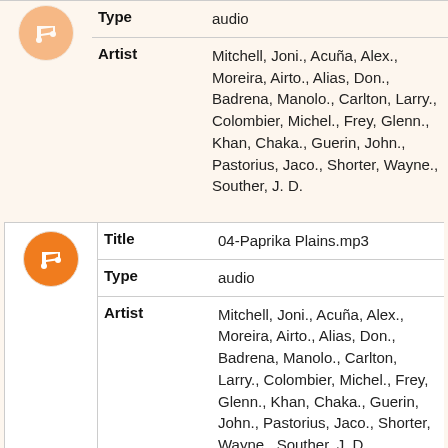| Field | Value |
| --- | --- |
| Type | audio |
| Artist | Mitchell, Joni., Acuña, Alex., Moreira, Airto., Alias, Don., Badrena, Manolo., Carlton, Larry., Colombier, Michel., Frey, Glenn., Khan, Chaka., Guerin, John., Pastorius, Jaco., Shorter, Wayne., Souther, J. D. |
| Field | Value |
| --- | --- |
| Title | 04-Paprika Plains.mp3 |
| Type | audio |
| Artist | Mitchell, Joni., Acuña, Alex., Moreira, Airto., Alias, Don., Badrena, Manolo., Carlton, Larry., Colombier, Michel., Frey, Glenn., Khan, Chaka., Guerin, John., Pastorius, Jaco., Shorter, Wayne., Souther, J. D. |
| Field | Value |
| --- | --- |
| Title | 05-Otis And Marlena.mp3 |